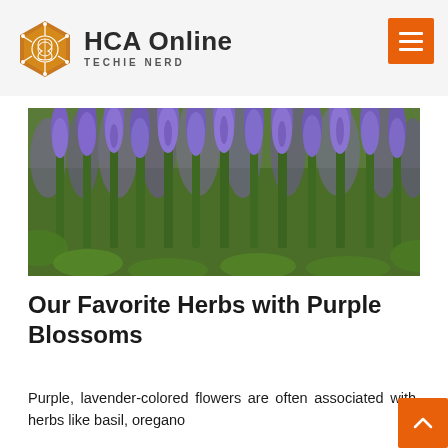[Figure (logo): HCA Online Techie Nerd logo with orange hexagon brain icon and site name]
[Figure (photo): Close-up photograph of purple lavender/sage herb blossoms in a field with green stems and bokeh background]
Our Favorite Herbs with Purple Blossoms
Purple, lavender-colored flowers are often associated with herbs like basil, oregano